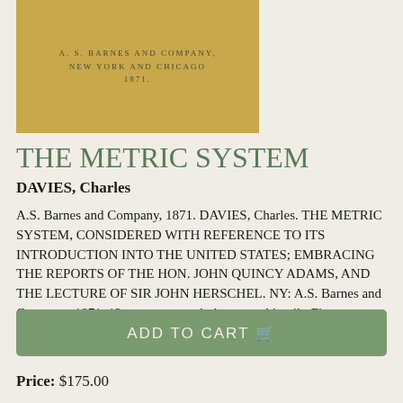[Figure (photo): Photograph of a book cover page showing 'A. S. BARNES AND COMPANY, NEW YORK AND CHICAGO 1871.' printed on a tan/gold background]
THE METRIC SYSTEM
DAVIES, Charles
A.S. Barnes and Company, 1871. DAVIES, Charles. THE METRIC SYSTEM, CONSIDERED WITH REFERENCE TO ITS INTRODUCTION INTO THE UNITED STATES; EMBRACING THE REPORTS OF THE HON. JOHN QUINCY ADAMS, AND THE LECTURE OF SIR JOHN HERSCHEL. NY: A.S. Barnes and Company, 1871. 12mo., maroon cloth stamped in gilt. First Edition..... More ›
ADD TO CART
Price: $175.00